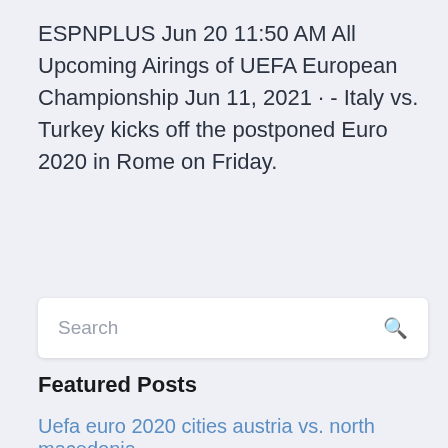ESPNPLUS Jun 20 11:50 AM All Upcoming Airings of UEFA European Championship Jun 11, 2021 · - Italy vs. Turkey kicks off the postponed Euro 2020 in Rome on Friday.
Search
Featured Posts
Uefa euro 2020 cities austria vs. north macedonia